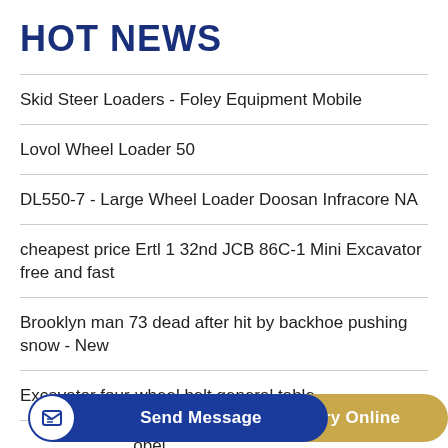HOT NEWS
Skid Steer Loaders - Foley Equipment Mobile
Lovol Wheel Loader 50
DL550-7 - Large Wheel Loader Doosan Infracore NA
cheapest price Ertl 1 32nd JCB 86C-1 Mini Excavator free and fast
Brooklyn man 73 dead after hit by backhoe pushing snow - New
Excavator four-wheel belt general table
Excavator Assy Valve